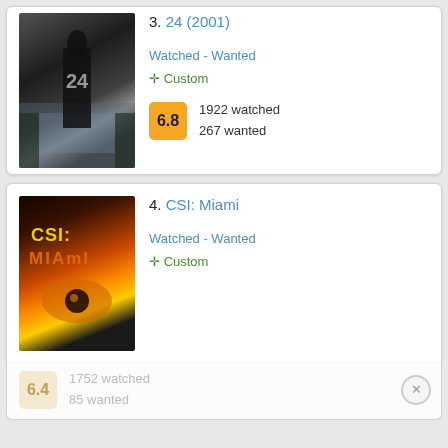3. 24 (2001)
Watched - Wanted
+ Custom
6.8  1922 watched  267 wanted
4. CSI: Miami
Watched - Wanted
+ Custom
6.4  1752 watched  85 wanted